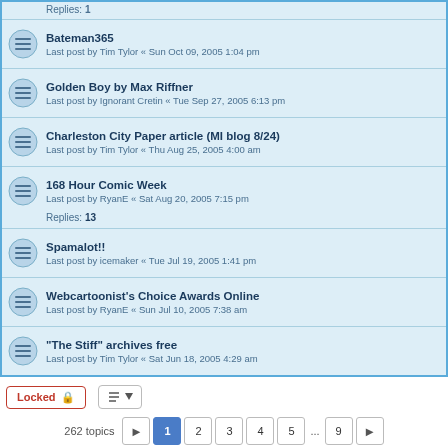Replies: 1
Bateman365 — Last post by Tim Tylor « Sun Oct 09, 2005 1:04 pm
Golden Boy by Max Riffner — Last post by Ignorant Cretin « Tue Sep 27, 2005 6:13 pm
Charleston City Paper article (MI blog 8/24) — Last post by Tim Tylor « Thu Aug 25, 2005 4:00 am
168 Hour Comic Week — Last post by RyanE « Sat Aug 20, 2005 7:15 pm — Replies: 13
Spamalot!! — Last post by icemaker « Tue Jul 19, 2005 1:41 pm
Webcartoonist's Choice Awards Online — Last post by RyanE « Sun Jul 10, 2005 7:38 am
"The Stiff" archives free — Last post by Tim Tylor « Sat Jun 18, 2005 4:29 am
Locked  262 topics  1 2 3 4 5 ... 9
Jump to